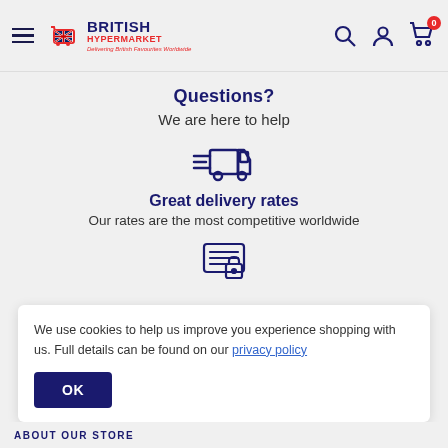British Hypermarket - Delivering British Favourites Worldwide
Questions?
We are here to help
[Figure (illustration): Delivery truck icon with speed lines]
Great delivery rates
Our rates are the most competitive worldwide
[Figure (illustration): Secure payment / locked screen icon]
We use cookies to help us improve you experience shopping with us. Full details can be found on our privacy policy
ABOUT OUR STORE